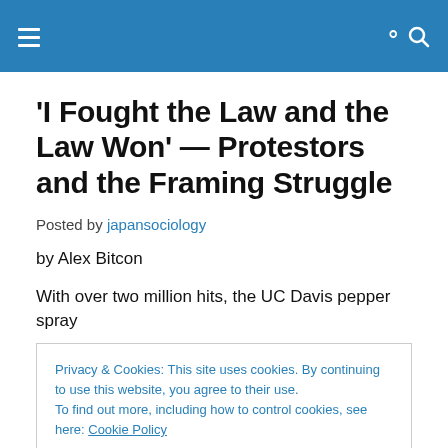navigation header with hamburger menu and search icon
'I Fought the Law and the Law Won' — Protestors and the Framing Struggle
Posted by japansociology
by Alex Bitcon
With over two million hits, the UC Davis pepper spray
Privacy & Cookies: This site uses cookies. By continuing to use this website, you agree to their use. To find out more, including how to control cookies, see here: Cookie Policy
The article 'The art of reframing political debates' by Ryan